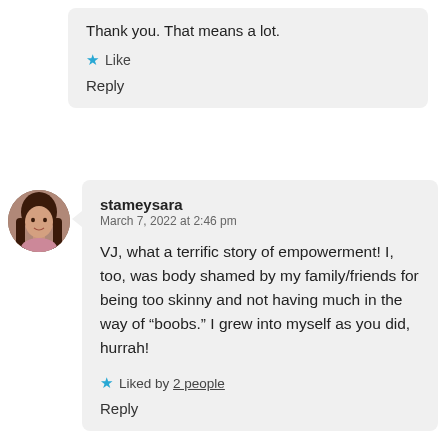Thank you. That means a lot.
★ Like
Reply
[Figure (photo): Circular avatar photo of a woman with long dark hair]
stameysara
March 7, 2022 at 2:46 pm
VJ, what a terrific story of empowerment! I, too, was body shamed by my family/friends for being too skinny and not having much in the way of “boobs.” I grew into myself as you did, hurrah!
★ Liked by 2 people
Reply